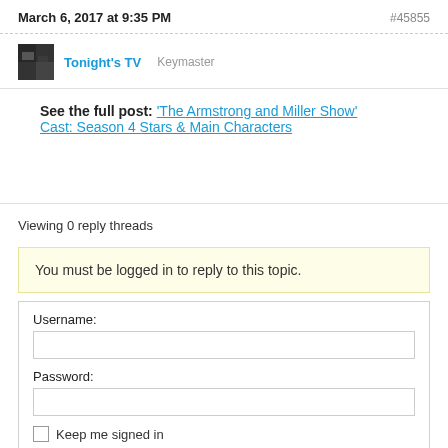March 6, 2017 at 9:35 PM   #45855
Tonight's TV   Keymaster
See the full post: 'The Armstrong and Miller Show' Cast: Season 4 Stars & Main Characters
Viewing 0 reply threads
You must be logged in to reply to this topic.
Username:
Password:
Keep me signed in